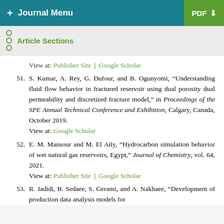+ Journal Menu | PDF
Article Sections
View at: Publisher Site | Google Scholar
51. S. Kumar, A. Rey, G. Dufour, and B. Ogunyomi, “Understanding fluid flow behavior in fractured reservoir using dual porosity dual permeability and discretized fracture model,” in Proceedings of the SPE Annual Technical Conference and Exhibition, Calgary, Canada, October 2019.
View at: Google Scholar
52. E. M. Mansour and M. El Aily, “Hydrocarbon simulation behavior of wet natural gas reservoirs, Egypt,” Journal of Chemistry, vol. 64, 2021.
View at: Publisher Site | Google Scholar
53. R. Jadidi, B. Sedaee, S. Gerami, and A. Nakhaee, “Development of production data analysis models for…